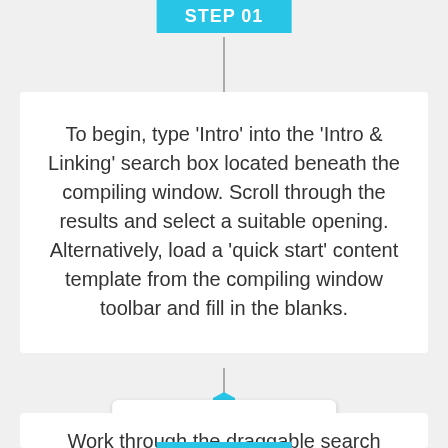STEP 01
To begin, type 'Intro' into the 'Intro & Linking' search box located beneath the compiling window. Scroll through the results and select a suitable opening. Alternatively, load a 'quick start' content template from the compiling window toolbar and fill in the blanks.
[Figure (infographic): Cyan hexagon connector dot on vertical timeline line]
Build your listing
STEP 02
Work through the draggable search boxes